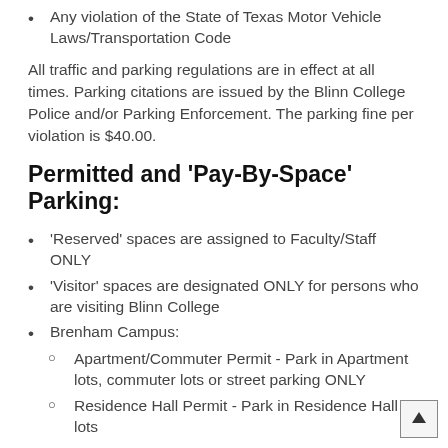Any violation of the State of Texas Motor Vehicle Laws/Transportation Code
All traffic and parking regulations are in effect at all times. Parking citations are issued by the Blinn College Police and/or Parking Enforcement. The parking fine per violation is $40.00.
Permitted and ‘Pay-By-Space’ Parking:
‘Reserved’ spaces are assigned to Faculty/Staff ONLY
‘Visitor’ spaces are designated ONLY for persons who are visiting Blinn College
Brenham Campus:
Apartment/Commuter Permit - Park in Apartment lots, commuter lots or street parking ONLY
Residence Hall Permit - Park in Residence Hall lots